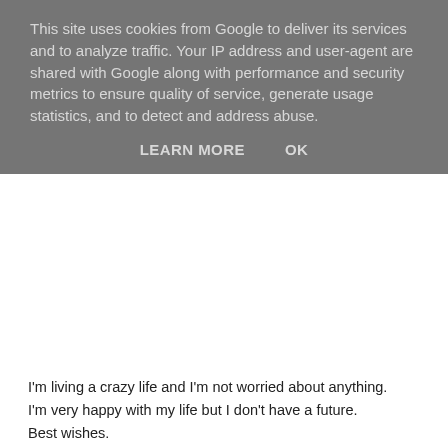This site uses cookies from Google to deliver its services and to analyze traffic. Your IP address and user-agent are shared with Google along with performance and security metrics to ensure quality of service, generate usage statistics, and to detect and address abuse.
LEARN MORE    OK
I'm living a crazy life and I'm not worried about anything.
I'm very happy with my life but I don't have a future.
Best wishes.
R.
PS: I think I love you, Agony Aunt.
Letter 19
Dear Agony Aunt,
I'm writing to you because I'm new at school. I was born in Ourense and I studied there until I was seven. Then, my father recruited me to the República Dominicana for the WWIII. Then, I started to study in "Isabel de Castilla".